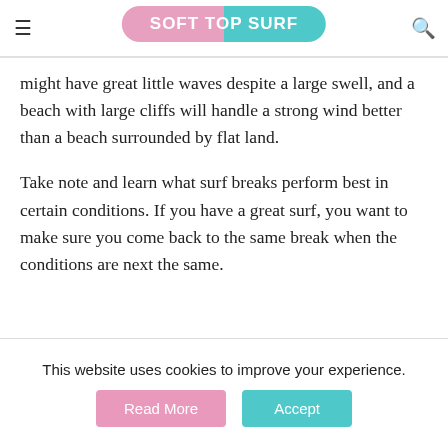SOFT TOP SURF
might have great little waves despite a large swell, and a beach with large cliffs will handle a strong wind better than a beach surrounded by flat land.
Take note and learn what surf breaks perform best in certain conditions. If you have a great surf, you want to make sure you come back to the same break when the conditions are next the same.
This website uses cookies to improve your experience.